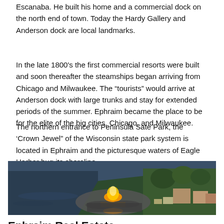Escanaba. He built his home and a commercial dock on the north end of town. Today the Hardy Gallery and Anderson dock are local landmarks.
In the late 1800's the first commercial resorts were built and soon thereafter the steamships began arriving from Chicago and Milwaukee. The “tourists” would arrive at Anderson dock with large trunks and stay for extended periods of the summer. Ephraim became the place to be for the elite of the big cities, Chicago, and Milwaukee.
The northern entrance to Peninsula Sate Park, the ‘Crown Jewel” of the Wisconsin state park system is located in Ephraim and the picturesque waters of Eagle Harbor hug its shoreline.
[Figure (photo): Aerial photograph of Eagle Harbor waterfront in Ephraim, Wisconsin, showing a large crowd gathered around a bonfire on a dock at dusk, with buildings, trees, boats, and the dark water visible.]
Ephraim Real Estate
David Kaster and iLoveDoorCounty.com real estate team can help